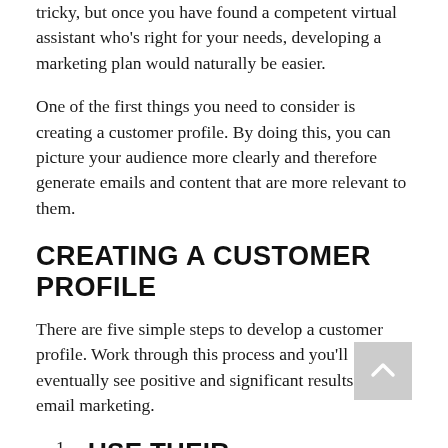tricky, but once you have found a competent virtual assistant who's right for your needs, developing a marketing plan would naturally be easier.
One of the first things you need to consider is creating a customer profile. By doing this, you can picture your audience more clearly and therefore generate emails and content that are more relevant to them.
CREATING A CUSTOMER PROFILE
There are five simple steps to develop a customer profile. Work through this process and you'll eventually see positive and significant results from email marketing.
1. USE THEIR DEMOGRAPHICS TO DESCRIBE YOUR CUSTOMERS.